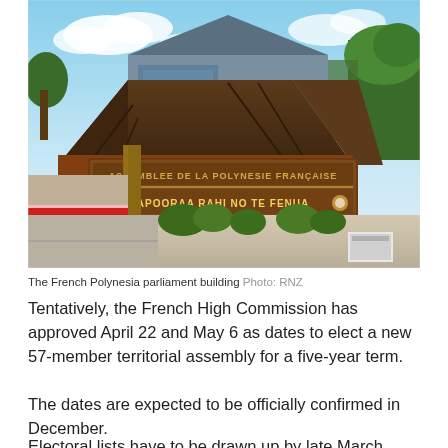[Figure (photo): The French Polynesia parliament building exterior, showing a wooden sign reading 'ASSEMBLEE DE LA POLYNESIE FRANCAISE' and 'APOORAA RAHI NO TE FENUA'. The building has a distinctive angular roof with glass panels and a metal gate in front.]
The French Polynesia parliament building Photo: RNZ
Tentatively, the French High Commission has approved April 22 and May 6 as dates to elect a new 57-member territorial assembly for a five-year term.
The dates are expected to be officially confirmed in December.
Electoral lists have to be drawn up by late March